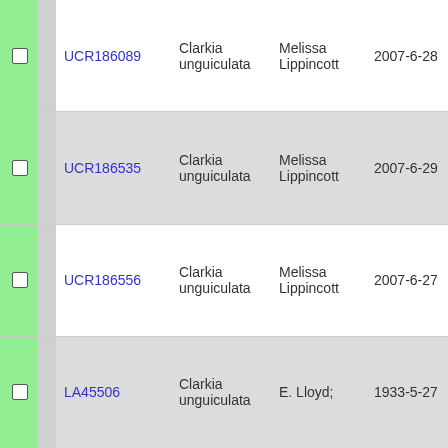|  | ID | Species | Collector | Date |  |
| --- | --- | --- | --- | --- | --- |
| ☐ | UCR186089 | Clarkia unguiculata | Melissa Lippincott | 2007-6-28 | s |
| ☐ | UCR186535 | Clarkia unguiculata | Melissa Lippincott | 2007-6-29 | s |
| ☐ | UCR186556 | Clarkia unguiculata | Melissa Lippincott | 2007-6-27 | s |
| ☐ | LA45506 | Clarkia unguiculata | E. Lloyd; | 1933-5-27 | s |